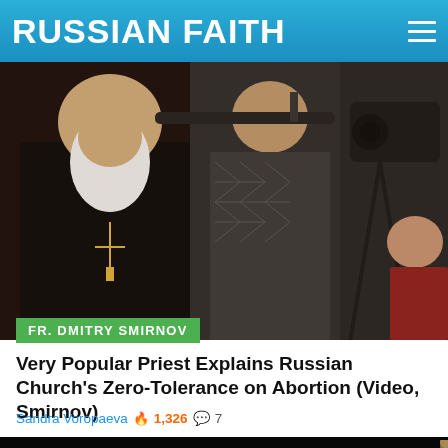RUSSIAN FAITH
[Figure (photo): An elderly Orthodox priest with a white beard wearing black robes and a cross necklace, standing next to a younger man holding a microphone boom, with a video camera operator in the background.]
FR. DMITRY SMIRNOV
Very Popular Priest Explains Russian Church's Zero-Tolerance on Abortion (Video, Smirnov)
Sandra Voropaeva 🔥 1,326 💬 7
[Figure (photo): Partial view of a person's head with sparse hair against a dark/black background, cropped at the bottom of the page.]